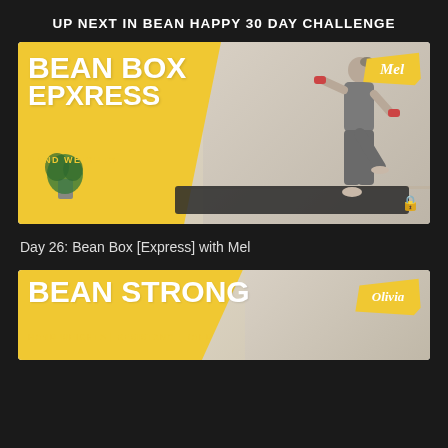UP NEXT IN BEAN HAPPY 30 DAY CHALLENGE
[Figure (screenshot): Workout video thumbnail showing a woman in grey athletic wear holding red dumbbells in a boxing stance on a black yoga mat. Left side has yellow background with white bold text reading BEAN BOX EPXRESS and HAND WEIGHTS below. Top right has a yellow brush stroke tag with Mel in italic script. Bottom right has a lock icon.]
Day 26: Bean Box [Express] with Mel
[Figure (screenshot): Workout video thumbnail with large yellow background on left side with white bold text reading BEAN STRONG and smaller yellow text HAND WEIGHTS | RESISTANCE BAND. Top right has a yellow brush stroke tag with Olivia in italic script.]